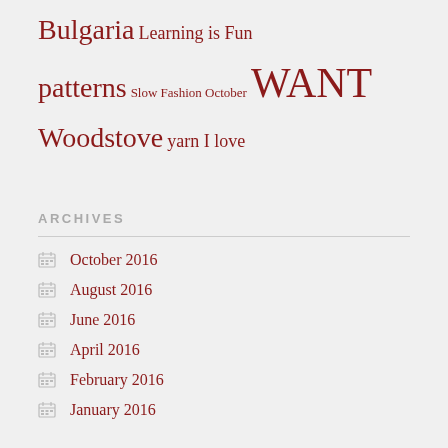Bulgaria Learning is Fun patterns Slow Fashion October WANT Woodstove yarn I love
ARCHIVES
October 2016
August 2016
June 2016
April 2016
February 2016
January 2016